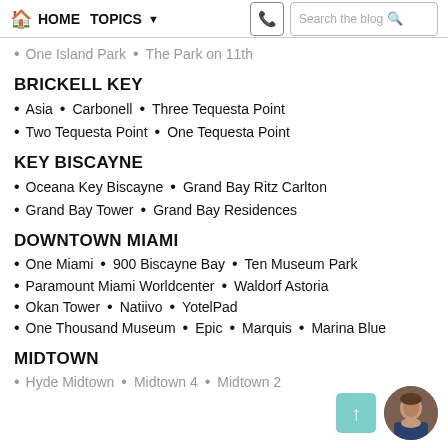HOME  TOPICS  Search the blog
One Island Park  •  The Park on 11th
BRICKELL KEY
Asia  •  Carbonell  •  Three Tequesta Point
Two Tequesta Point  •  One Tequesta Point
KEY BISCAYNE
Oceana Key Biscayne  •  Grand Bay Ritz Carlton
Grand Bay Tower  •  Grand Bay Residences
DOWNTOWN MIAMI
One Miami  •  900 Biscayne Bay  •  Ten Museum Park
Paramount Miami Worldcenter  •  Waldorf Astoria
Okan Tower  •  Natiivo  •  YotelPad
One Thousand Museum  •  Epic  •  Marquis  •  Marina Blue
MIDTOWN
Hyde Midtown  •  Midtown 4  •  Midtown 2